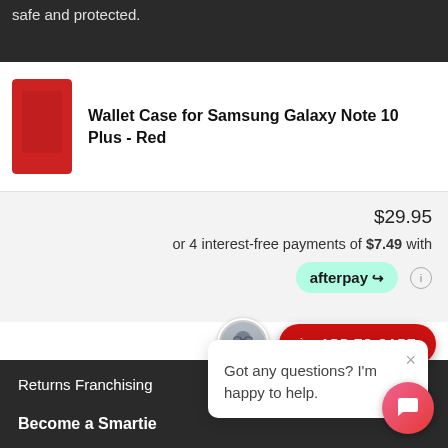safe and protected.
Wallet Case for Samsung Galaxy Note 10 Plus - Red
$29.95
or 4 interest-free payments of $7.49 with afterpay
ADD TO CART
Got any questions? I'm happy to help.
Returns
Franchising
Become a Smartie